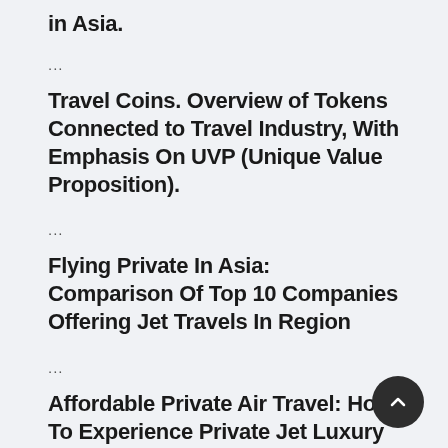in Asia.
...
Travel Coins. Overview of Tokens Connected to Travel Industry, With Emphasis On UVP (Unique Value Proposition).
...
Flying Private In Asia: Comparison Of Top 10 Companies Offering Jet Travels In Region
...
Affordable Private Air Travel: How To Experience Private Jet Luxury For Less